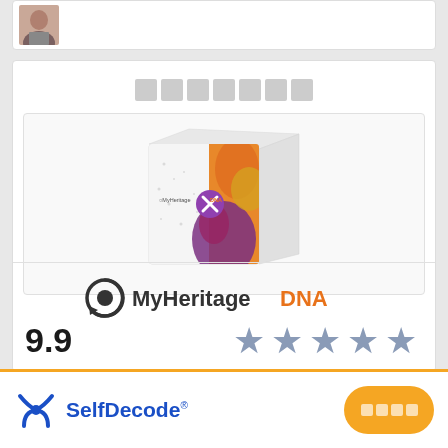[Figure (photo): Small avatar/profile photo of a person in the top card]
░░░░░░░ (redacted heading text)
[Figure (photo): MyHeritage DNA kit product box image — white box with colorful floral DNA splash design and a purple circle with X icon]
[Figure (logo): MyHeritage DNA logo — circular arrow icon in dark gray, 'MyHeritage' in dark gray bold, 'DNA' in orange bold]
9.9
[Figure (other): Five gray/steel blue stars rating]
[Figure (logo): SelfDecode logo — blue X/person icon with 'SelfDecode' text in blue]
░░░░ (redacted CTA button text)